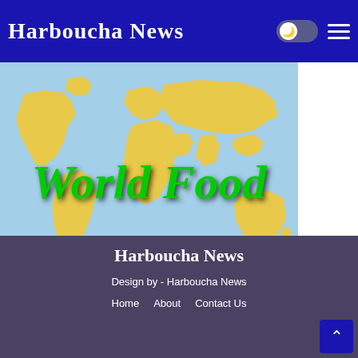Harboucha News
[Figure (illustration): World map banner image with yellow continents on a light blue background, overlaid with green italic text 'World Food']
Harboucha News
Design by - Harboucha News
Home
About
Contact Us